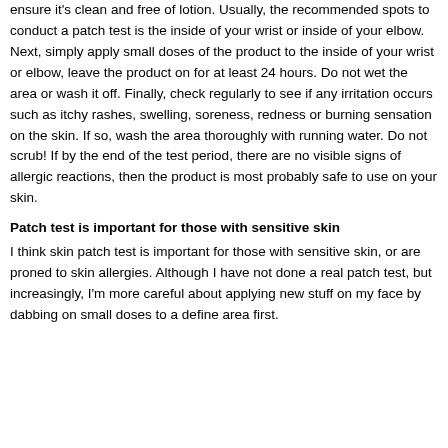ensure it's clean and free of lotion. Usually, the recommended spots to conduct a patch test is the inside of your wrist or inside of your elbow. Next, simply apply small doses of the product to the inside of your wrist or elbow, leave the product on for at least 24 hours. Do not wet the area or wash it off. Finally, check regularly to see if any irritation occurs such as itchy rashes, swelling, soreness, redness or burning sensation on the skin. If so, wash the area thoroughly with running water. Do not scrub! If by the end of the test period, there are no visible signs of allergic reactions, then the product is most probably safe to use on your skin.
Patch test is important for those with sensitive skin
I think skin patch test is important for those with sensitive skin, or are proned to skin allergies. Although I have not done a real patch test, but increasingly, I'm more careful about applying new stuff on my face by dabbing on small doses to a define area first.